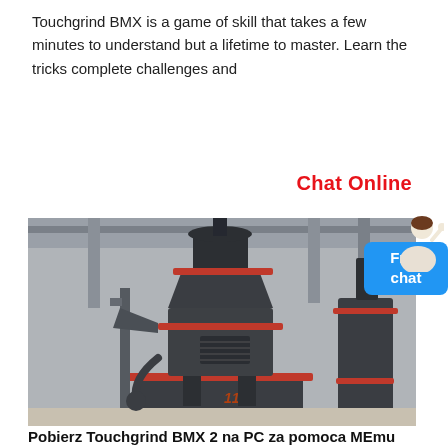Touchgrind BMX is a game of skill that takes a few minutes to understand but a lifetime to master. Learn the tricks complete challenges and
Chat Online
[Figure (photo): Large industrial vertical grinding mill machine in dark grey color with red accent rings, photographed inside a factory building. A blue 'Free chat' badge with a customer service representative icon is visible in the upper right corner of the image.]
Pobierz Touchgrind BMX 2 na PC za pomoca MEmu